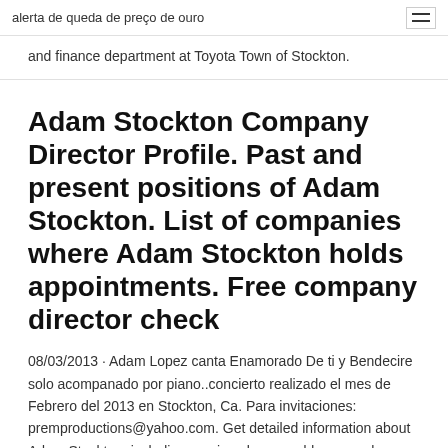alerta de queda de preço de ouro
and finance department at Toyota Town of Stockton.
Adam Stockton Company Director Profile. Past and present positions of Adam Stockton. List of companies where Adam Stockton holds appointments. Free company director check
08/03/2013 · Adam Lopez canta Enamorado De ti y Bendecire solo acompanado por piano..concierto realizado el mes de Febrero del 2013 en Stockton, Ca. Para invitaciones: premproductions@yahoo.com. Get detailed information about Adam Stockton, including previous known addresses, phone numbers, jobs, schools, or run a comprehensive background